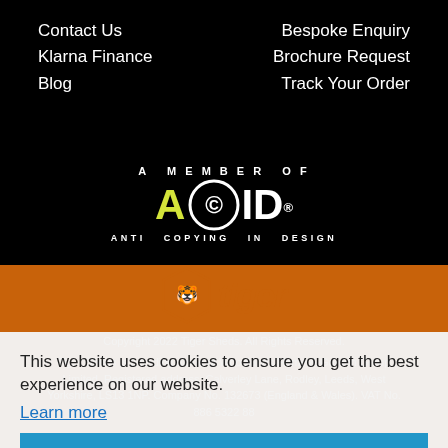Contact Us
Klarna Finance
Blog
Bespoke Enquiry
Brochure Request
Track Your Order
[Figure (logo): ACID - Anti Copying In Design member badge. Yellow 'A', white circle copyright symbol, white 'ID' with registered trademark. Text below: ANTI COPYING IN DESIGN]
[Figure (logo): Tiger Sheds logo - orange shield with tiger face and orange italic 'tiger' text]
Copyright 2022 Tiger Sheds. All Rights Reserved.
Tiger Sheds is a trading name of Woodlands Home & Garden Group Limited. Registered address: Calverley Lane, Rodley, Leeds, West Yorkshire, LS13 1NP. Company No. 132673 (England & Wales). VAT No. 886 5322 88
Tiger Sheds acts as a credit intermediary and offer credit products provided exclusively by Klarna. Klarna is Authorised by the Swedish
This website uses cookies to ensure you get the best experience on our website.
Learn more
Got it!